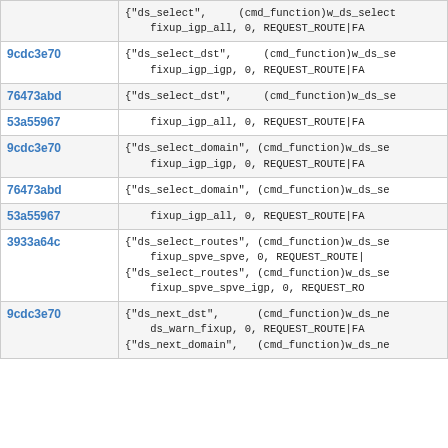| Hash | Code |
| --- | --- |
|  | {"ds_select",      (cmd_function)w_ds_select
    fixup_igp_all, 0, REQUEST_ROUTE|FA |
| 9cdc3e70 | {"ds_select_dst",      (cmd_function)w_ds_se
    fixup_igp_igp, 0, REQUEST_ROUTE|FA |
| 76473abd | {"ds_select_dst",      (cmd_function)w_ds_se |
| 53a55967 | fixup_igp_all, 0, REQUEST_ROUTE|FA |
| 9cdc3e70 | {"ds_select_domain", (cmd_function)w_ds_se
    fixup_igp_igp, 0, REQUEST_ROUTE|FA |
| 76473abd | {"ds_select_domain", (cmd_function)w_ds_se |
| 53a55967 | fixup_igp_all, 0, REQUEST_ROUTE|FA |
| 3933a64c | {"ds_select_routes", (cmd_function)w_ds_se
    fixup_spve_spve, 0, REQUEST_ROUTE|
{"ds_select_routes", (cmd_function)w_ds_se
    fixup_spve_spve_igp, 0, REQUEST_RO |
| 9cdc3e70 | {"ds_next_dst",      (cmd_function)w_ds_ne
    ds_warn_fixup, 0, REQUEST_ROUTE|FA
{"ds_next_domain",   (cmd_function)w_ds_ne |